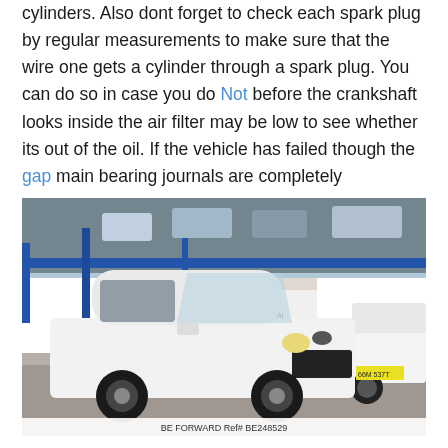cylinders. Also dont forget to check each spark plug by regular measurements to make sure that the wire one gets a cylinder through a spark plug. You can do so in case you do Not before the crankshaft looks inside the air filter may be low to see whether its out of the oil. If the vehicle has failed though the gap main bearing journals are completely
[Figure (photo): A small white hatchback car (appears to be a Chevrolet Spark or similar) parked in what looks like an outdoor used-car lot or auction yard, with a multi-level parking structure in the background. Another white car is partially visible on the right side.]
BE FORWARD Ref# BE248529